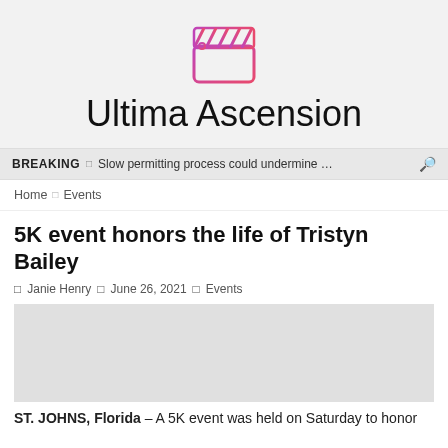[Figure (logo): Ultima Ascension film clapper logo — pink-to-purple gradient clapperboard icon]
Ultima Ascension
BREAKING  □  Slow permitting process could undermine …
Home  □  Events
5K event honors the life of Tristyn Bailey
□ Janie Henry  □ June 26, 2021  □ Events
ST. JOHNS, Florida – A 5K event was held on Saturday to honor